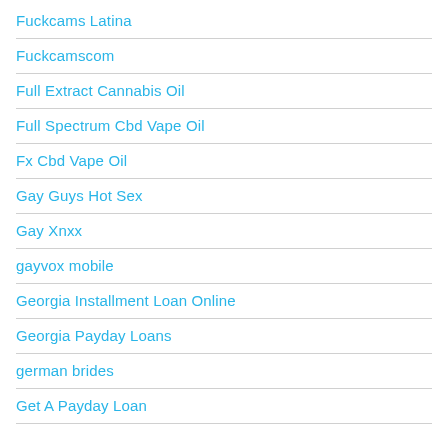Fuckcams Latina
Fuckcamscom
Full Extract Cannabis Oil
Full Spectrum Cbd Vape Oil
Fx Cbd Vape Oil
Gay Guys Hot Sex
Gay Xnxx
gayvox mobile
Georgia Installment Loan Online
Georgia Payday Loans
german brides
Get A Payday Loan